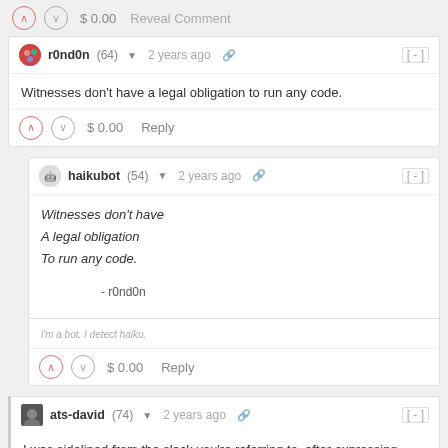$ 0.00   Reveal Comment
r0nd0n (64) ▾  2 years ago  [-]
Witnesses don't have a legal obligation to run any code.
$ 0.00   Reply
haikubot (54) ▾  2 years ago  [-]
Witnesses don't have
A legal obligation
To run any code.

- r0nd0n

i'm a bot. I detect haiku.
$ 0.00   Reply
ats-david (74) ▾  2 years ago  [-]
I was sidelined from the slack you're referring to, after expressing